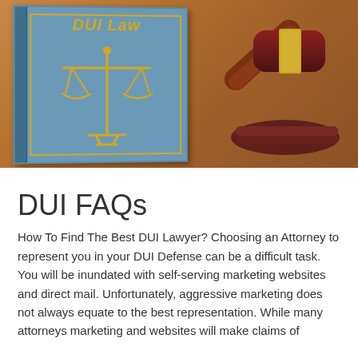[Figure (photo): Photo of a blue DUI Law book with gold scales of justice emblem and the title 'DUI Law' on the cover, lying on a wooden surface next to a wooden judge's gavel with a gold band on its stand.]
DUI FAQs
How To Find The Best DUI Lawyer? Choosing an Attorney to represent you in your DUI Defense can be a difficult task. You will be inundated with self-serving marketing websites and direct mail. Unfortunately, aggressive marketing does not always equate to the best representation. While many attorneys marketing and websites will make claims of